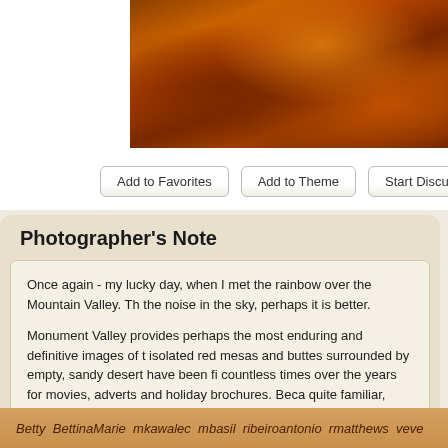[Figure (photo): A close-up photograph of red/orange rock formations, likely Monument Valley sandstone, with warm amber and dark brown tones.]
Add to Favorites   Add to Theme   Start Discussion   Po...
Photographer's Note
Once again - my lucky day, when I met the rainbow over the Mountain Valley. Th... the noise in the sky, perhaps it is better.

Monument Valley provides perhaps the most enduring and definitive images of t... isolated red mesas and buttes surrounded by empty, sandy desert have been fil... countless times over the years for movies, adverts and holiday brochures. Beca... quite familiar, even on a first visit, but it is soon evident that the natural colours m... those in all the pictures. The valley is not a valley in the conventional sense, bu... desolate landscape, interrupted by the crumbling formations rising hundreds of ... remnants of the sandstone layers that once covered the entire region.
- after wikipedia
Betty  BettinaMarie  mkawalec  mbasil  ribeiroantonio  rmatthews  veve...